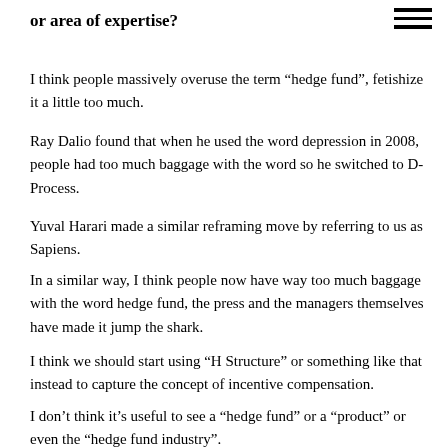or area of expertise?
I think people massively overuse the term “hedge fund”, fetishize it a little too much.
Ray Dalio found that when he used the word depression in 2008, people had too much baggage with the word so he switched to D-Process.
Yuval Harari made a similar reframing move by referring to us as Sapiens.
In a similar way, I think people now have way too much baggage with the word hedge fund, the press and the managers themselves have made it jump the shark.
I think we should start using “H Structure” or something like that instead to capture the concept of incentive compensation.
I don’t think it’s useful to see a “hedge fund” or a “product” or even the “hedge fund industry”.